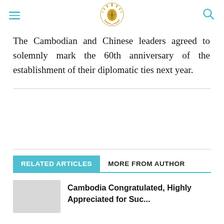The Cambodian and Chinese leaders agreed to solemnly mark the 60th anniversary of the establishment of their diplomatic ties next year.
RELATED ARTICLES   MORE FROM AUTHOR
Cambodia Congratulated, Highly Appreciated for Suc...